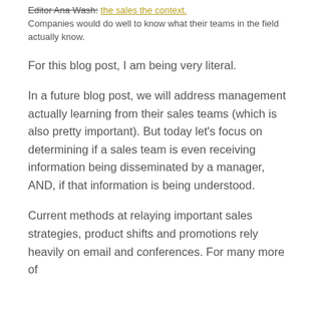Editor Ana Wash: the sales the context. Companies would do well to know what their teams in the field actually know.
For this blog post, I am being very literal.
In a future blog post, we will address management actually learning from their sales teams (which is also pretty important). But today let's focus on determining if a sales team is even receiving information being disseminated by a manager, AND, if that information is being understood.
Current methods at relaying important sales strategies, product shifts and promotions rely heavily on email and conferences. For many more of